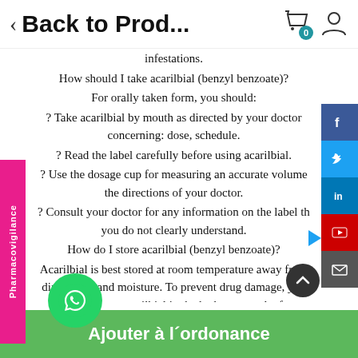< Back to Prod...
infestations.
How should I take acarilbial (benzyl benzoate)?
For orally taken form, you should:
? Take acarilbial by mouth as directed by your doctor concerning: dose, schedule.
? Read the label carefully before using acarilbial.
? Use the dosage cup for measuring an accurate volume the directions of your doctor.
? Consult your doctor for any information on the label that you do not clearly understand.
How do I store acarilbial (benzyl benzoate)?
Acarilbial is best stored at room temperature away from direct light and moisture. To prevent drug damage, you should not store acarilbial in the bathroom or the freezer. ay be different brands of acarilbial that may have
Ajouter à l'ordonance